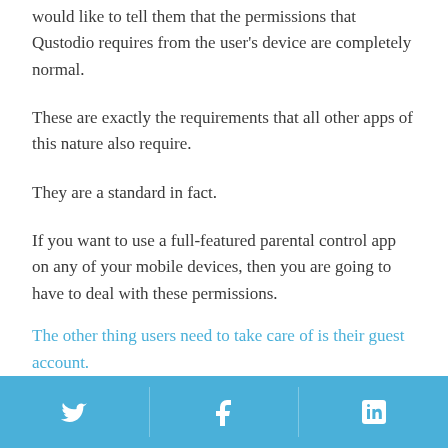would like to tell them that the permissions that Qustodio requires from the user's device are completely normal.
These are exactly the requirements that all other apps of this nature also require.
They are a standard in fact.
If you want to use a full-featured parental control app on any of your mobile devices, then you are going to have to deal with these permissions.
The other thing users need to take care of is their guest account.